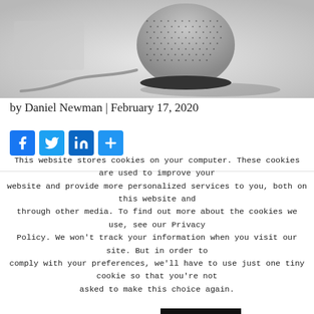[Figure (photo): Photo of an Apple HomePod smart speaker in white/gray color on a white surface with a cable visible]
by Daniel Newman | February 17, 2020
[Figure (infographic): Social share buttons: Facebook, Twitter, LinkedIn, Share (plus icon)]
This website stores cookies on your computer. These cookies are used to improve your website and provide more personalized services to you, both on this website and through other media. To find out more about the cookies we use, see our Privacy Policy. We won't track your information when you visit our site. But in order to comply with your preferences, we'll have to use just one tiny cookie so that you're not asked to make this choice again.
Cookie settings | ACCEPT